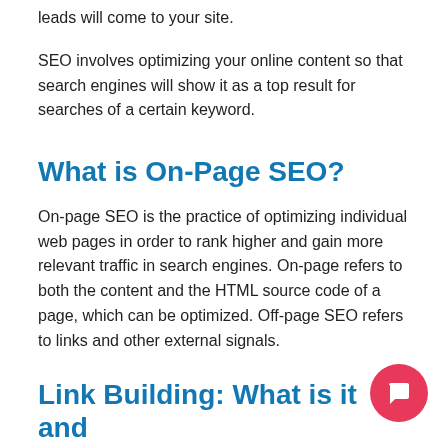leads will come to your site.
SEO involves optimizing your online content so that search engines will show it as a top result for searches of a certain keyword.
What is On-Page SEO?
On-page SEO is the practice of optimizing individual web pages in order to rank higher and gain more relevant traffic in search engines. On-page refers to both the content and the HTML source code of a page, which can be optimized. Off-page SEO refers to links and other external signals.
Link Building: What is it and